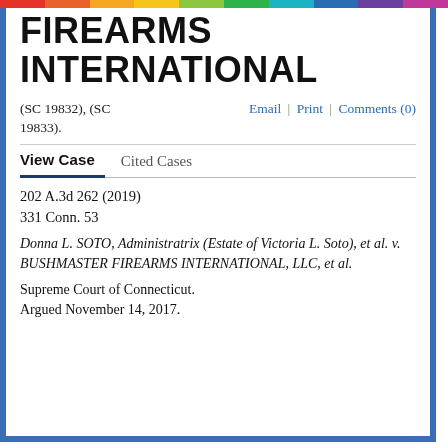FIREARMS INTERNATIONAL
(SC 19832), (SC 19833).
Email | Print | Comments (0)
View Case   Cited Cases
202 A.3d 262 (2019)
331 Conn. 53
Donna L. SOTO, Administratrix (Estate of Victoria L. Soto), et al. v. BUSHMASTER FIREARMS INTERNATIONAL, LLC, et al.
Supreme Court of Connecticut.
Argued November 14, 2017.